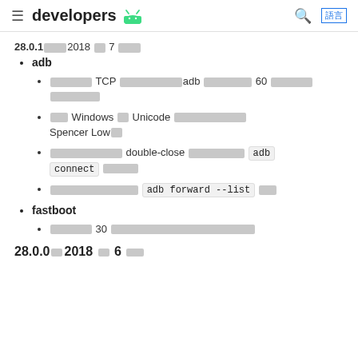≡ developers [android logo] 🔍 語言
28.0.1 2018 月 7 發布
adb
新增支援 TCP 連線的持久性adb 連線逾時設定 60 秒的連線逾時
修正 Windows 上 Unicode 路徑問題，感謝 Spencer Low的貢獻
修正在某些情況下 double-close 問題，影響 adb connect 的功能
修正在某些情況下 adb forward --list 異常
fastboot
新增逾時 30 秒的連線逾時，適用於所有連線類型
28.0.0 2018 月 6 發布